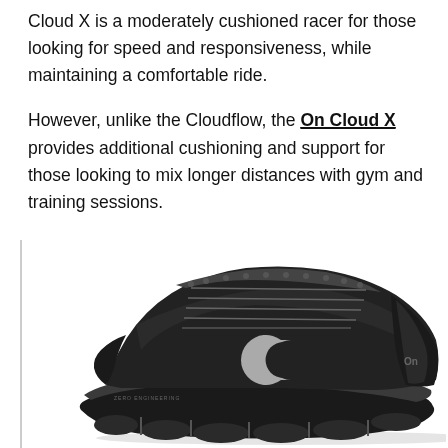Cloud X is a moderately cushioned racer for those looking for speed and responsiveness, while maintaining a comfortable ride.
However, unlike the Cloudflow, the On Cloud X provides additional cushioning and support for those looking to mix longer distances with gym and training sessions.
[Figure (photo): Black On Cloud X running shoe shown from the side, featuring the On logo on the midfoot, mesh upper, and distinctive CloudTec sole with cloud pods visible underneath.]